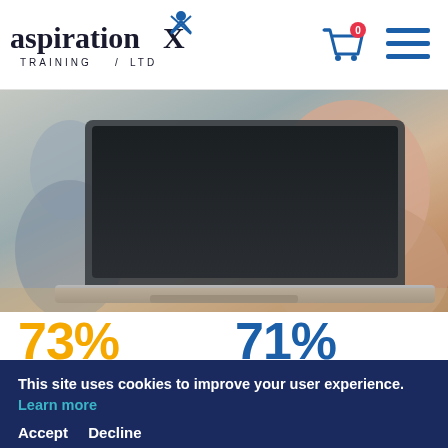[Figure (logo): Aspiration Training Ltd logo with stylized X and figure, shopping cart icon with 0 badge, and hamburger menu icon]
[Figure (photo): Hero image showing a laptop in the foreground with blurred background of people in a workplace/training setting]
73% of our learners would
71% of our learners have passed their EPA with a Merits/Distinction
This site uses cookies to improve your user experience. Learn more
Accept  Decline